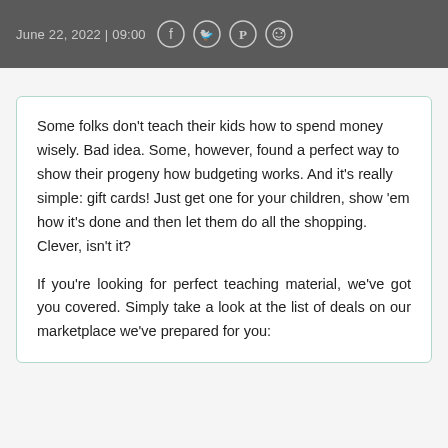June 22, 2022 | 09:00
Some folks don’t teach their kids how to spend money wisely. Bad idea. Some, however, found a perfect way to show their progeny how budgeting works. And it’s really simple: gift cards! Just get one for your children, show ‘em how it’s done and then let them do all the shopping. Clever, isn’t it?
If you’re looking for perfect teaching material, we’ve got you covered. Simply take a look at the list of deals on our marketplace we’ve prepared for you: